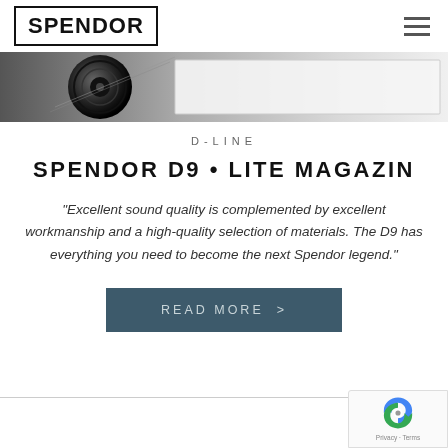SPENDOR
[Figure (photo): Partial view of a speaker driver/woofer against a light background with a rectangular bar on the right]
D-LINE
SPENDOR D9 • LITE MAGAZIN
"Excellent sound quality is complemented by excellent workmanship and a high-quality selection of materials. The D9 has everything you need to become the next Spendor legend."
READ MORE >
[Figure (logo): reCAPTCHA badge with Privacy and Terms links]